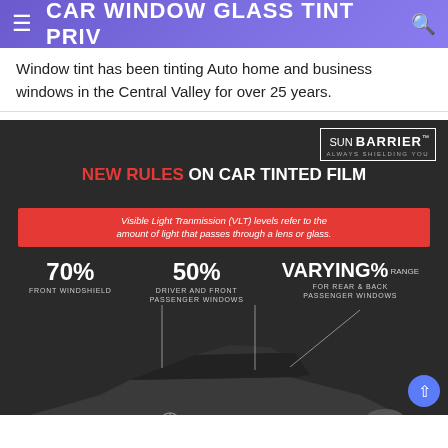≡ CAR WINDOW GLASS TINT PRIV 🔍
Window tint has been tinting Auto home and business windows in the Central Valley for over 25 years.
[Figure (infographic): Sun Barrier infographic showing new rules on car tinted film. States: 70% Front Windshield, 50% Driver and Front Passenger Windows, VARYING% Range for Rear & Back Passenger Windows. Shows a dark Mercedes SUV with annotation lines pointing to each window area.]